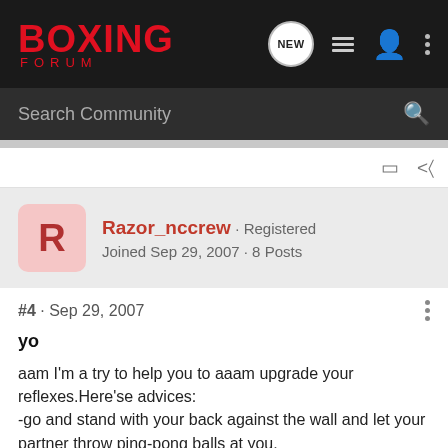BOXING FORUM
Search Community
Razor_nccrew · Registered
Joined Sep 29, 2007 · 8 Posts
#4 · Sep 29, 2007
yo
aam I'm a try to help you to aaam upgrade your reflexes.Here'se advices:
-go and stand with your back against the wall and let your partner throw ping-pong balls at you.
-If you have problems with the eyes (blinking) hold your hands together in front of your face with no distance and let your